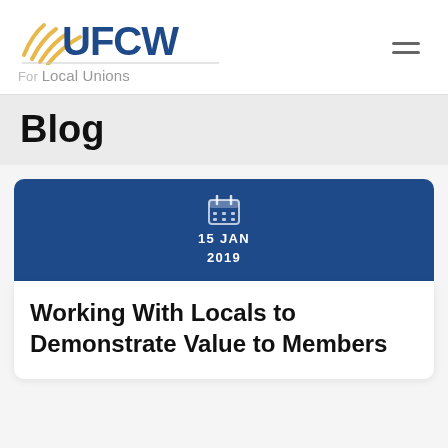[Figure (logo): UFCW logo with radio wave graphic and 'For Local Unions' text below]
Blog
15 JAN
2019
Working With Locals to Demonstrate Value to Members